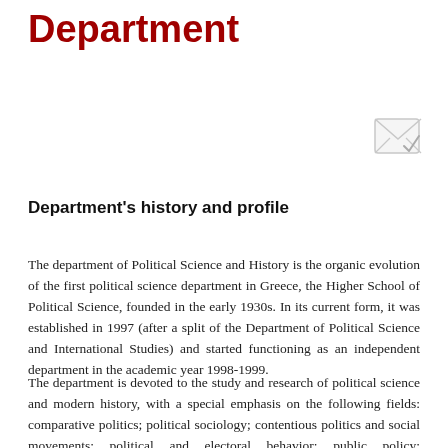Department
[Figure (illustration): Email/envelope icon in light gray with a checkmark, positioned top-right of the page]
Department's history and profile
The department of Political Science and History is the organic evolution of the first political science department in Greece, the Higher School of Political Science, founded in the early 1930s. In its current form, it was established in 1997 (after a split of the Department of Political Science and International Studies) and started functioning as an independent department in the academic year 1998-1999.
The department is devoted to the study and research of political science and modern history, with a special emphasis on the following fields: comparative politics; political sociology; contentious politics and social movements; political and electoral behavior; public policy; globalization studies; constitutional law; economic theory and history; political